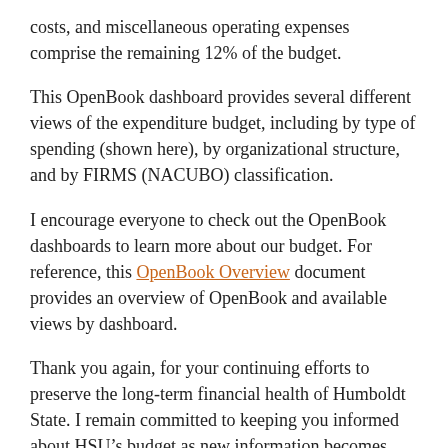costs, and miscellaneous operating expenses comprise the remaining 12% of the budget.
This OpenBook dashboard provides several different views of the expenditure budget, including by type of spending (shown here), by organizational structure, and by FIRMS (NACUBO) classification.
I encourage everyone to check out the OpenBook dashboards to learn more about our budget. For reference, this OpenBook Overview document provides an overview of OpenBook and available views by dashboard.
Thank you again, for your continuing efforts to preserve the long-term financial health of Humboldt State. I remain committed to keeping you informed about HSU’s budget as new information becomes available.
Sincerely,